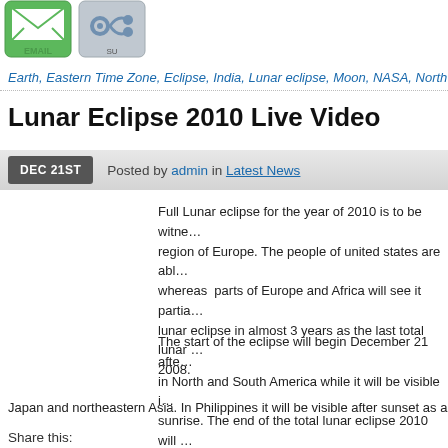[Figure (logo): Email share button icon (green)]
[Figure (logo): StumbleUpon share button icon (grey/blue)]
Earth, Eastern Time Zone, Eclipse, India, Lunar eclipse, Moon, NASA, North B…
Lunar Eclipse 2010 Live Video
DEC 21ST   Posted by admin in Latest News
Full Lunar eclipse for the year of 2010 is to be witnessed in the region of Europe. The people of united states are able to see it whereas  parts of Europe and Africa will see it partially. It is a lunar eclipse in almost 3 years as the last total lunar eclipse was in 2008.
The start of the eclipse will begin December 21 after rise in North and South America while it will be visible in sunrise. The end of the total lunar eclipse 2010 will … Japan and northeastern Asia. In Philippines it will be visible after sunset as a partial…
Share this:
[Figure (logo): Email share button icon (green)]
[Figure (logo): StumbleUpon share button icon (grey/blue)]
Africa, Asia, Earth, Eastern Time Zone, Europe, Japan, Lunar eclipse, luna e…